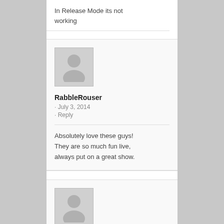In Release Mode its not working
RabbleRouser
· July 3, 2014
· Reply
Absolutely love these guys! They are so much fun live, always put on a great show.
[Figure (illustration): Grey placeholder avatar icon (person silhouette) at bottom of page]